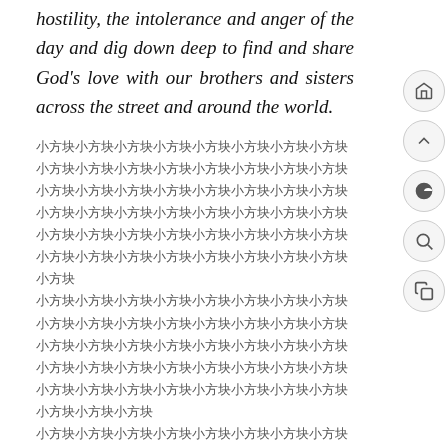hostility, the intolerance and anger of the day and dig down deep to find and share God's love with our brothers and sisters across the street and around the world.
[CJK text block - encoded characters]
Judy Note:
[CJK label]:
Military Intelligence intercepted the Deep State's 16 year plan to destroy America. The 2016 Election was rigged for Hillary, but the White Hats Military installed Trump. The 2020